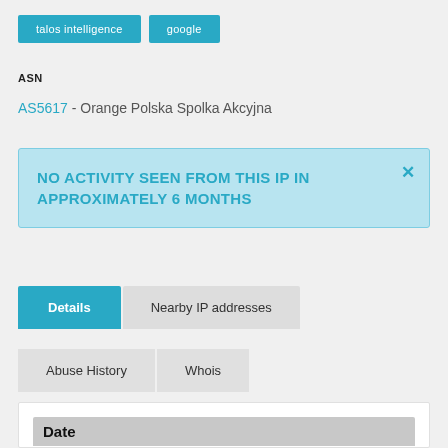[Figure (screenshot): Two teal/cyan buttons: 'talos intelligence' and 'google']
ASN
AS5617 - Orange Polska Spolka Akcyjna
NO ACTIVITY SEEN FROM THIS IP IN APPROXIMATELY 6 MONTHS
Details | Nearby IP addresses
Abuse History | Whois
Date
3 Apr, 22 17:03